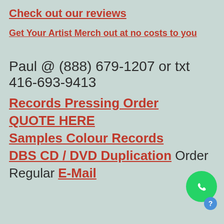Check out our reviews
Get Your Artist Merch out at no costs to you
Paul @ (888) 679-1207 or txt 416-693-9413
Records Pressing Order
QUOTE HERE
Samples Colour Records
DBS CD / DVD Duplication Order
Regular E-Mail